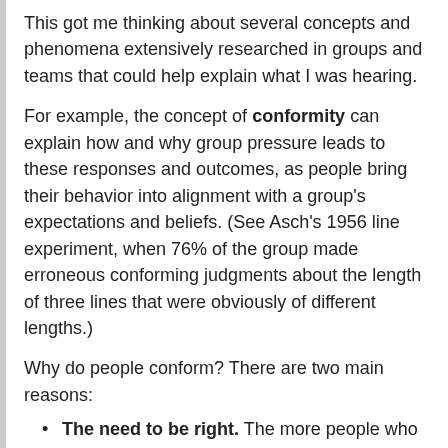This got me thinking about several concepts and phenomena extensively researched in groups and teams that could help explain what I was hearing.
For example, the concept of conformity can explain how and why group pressure leads to these responses and outcomes, as people bring their behavior into alignment with a group's expectations and beliefs. (See Asch's 1956 line experiment, when 76% of the group made erroneous conforming judgments about the length of three lines that were obviously of different lengths.)
Why do people conform? There are two main reasons:
The need to be right. The more people who hold a particular opinion, the more right that opinion appears to be. This phenomenon explains why